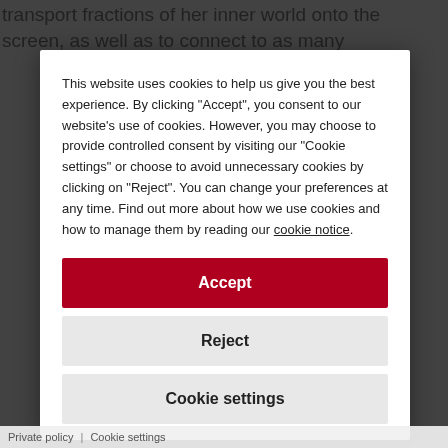transport fractions of her inner world onto the screen, as well as to connect to as many
This website uses cookies to help us give you the best experience. By clicking "Accept", you consent to our website's use of cookies. However, you may choose to provide controlled consent by visiting our "Cookie settings" or choose to avoid unnecessary cookies by clicking on "Reject". You can change your preferences at any time. Find out more about how we use cookies and how to manage them by reading our cookie notice.
Accept
Reject
Cookie settings
Private policy | Cookie settings